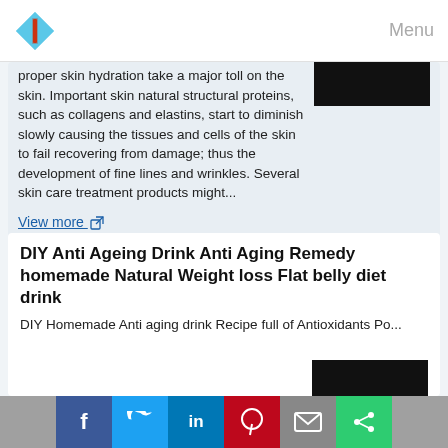Menu
proper skin hydration take a major toll on the skin. Important skin natural structural proteins, such as collagens and elastins, start to diminish slowly causing the tissues and cells of the skin to fail recovering from damage; thus the development of fine lines and wrinkles. Several skin care treatment products might...
View more
From: Anti Aging Skin Care
Related topics : all natural anti aging skin care products / anti aging skin treatment collagen / natural anti aging products that work / anti aging center / fine lines and wrinkles treatment
Back top
DIY Anti Ageing Drink Anti Aging Remedy homemade Natural Weight loss Flat belly diet drink
DIY Homemade Anti aging drink Recipe full of Antioxidants Po...